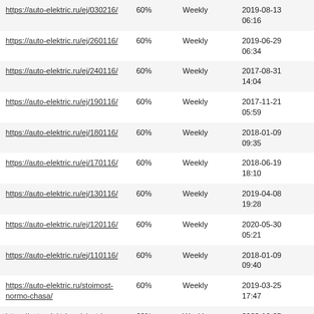| https://auto-elektric.ru/ej/030216/ | 60% | Weekly | 2019-08-13
06:16 |
| https://auto-elektric.ru/ej/260116/ | 60% | Weekly | 2019-06-29
06:34 |
| https://auto-elektric.ru/ej/240116/ | 60% | Weekly | 2017-08-31
14:04 |
| https://auto-elektric.ru/ej/190116/ | 60% | Weekly | 2017-11-21
05:59 |
| https://auto-elektric.ru/ej/180116/ | 60% | Weekly | 2018-01-09
09:35 |
| https://auto-elektric.ru/ej/170116/ | 60% | Weekly | 2018-06-19
18:10 |
| https://auto-elektric.ru/ej/130116/ | 60% | Weekly | 2019-04-08
19:28 |
| https://auto-elektric.ru/ej/120116/ | 60% | Weekly | 2020-05-30
05:21 |
| https://auto-elektric.ru/ej/110116/ | 60% | Weekly | 2018-01-09
09:40 |
| https://auto-elektric.ru/stoimost-normo-chasa/ | 60% | Weekly | 2019-03-25
17:47 |
| https://auto-elektric.ru/electric-kamaz/diagnostika-kamaz/kompyuternaya-diagnostika-kamaz/ | 60% | Weekly | 2020-10-25
04:12 |
| https://auto-elektric.ru/ej/220216/ | 60% | Weekly | 2019-08-05
22:19 |